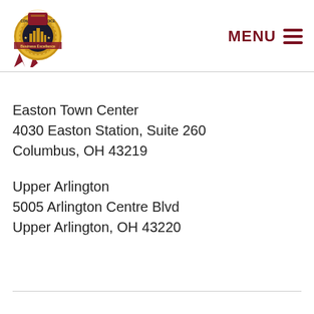[Figure (logo): Consumers Choice Award gold medal badge with ribbon]
MENU
Easton Town Center
4030 Easton Station, Suite 260
Columbus, OH 43219
Upper Arlington
5005 Arlington Centre Blvd
Upper Arlington, OH 43220